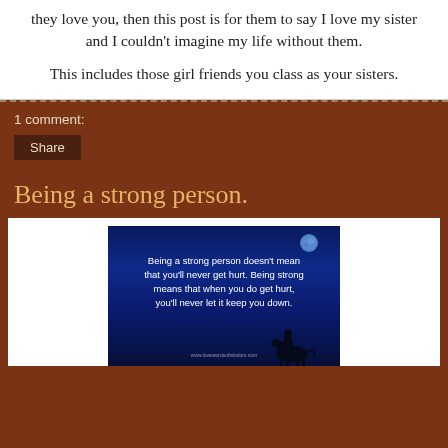they love you, then this post is for them to say I love my sister and I couldn't imagine my life without them.
This includes those girl friends you class as your sisters.
1 comment:
Share
Being a strong person.
[Figure (illustration): Dark blue night sky image with a moon globe, quote text reading 'Being a strong person doesn't mean that you'll never get hurt. Being strong means that when you do get hurt, you'll never let it keep you down.' with a silhouette of a person on horseback at the bottom and a website URL.]